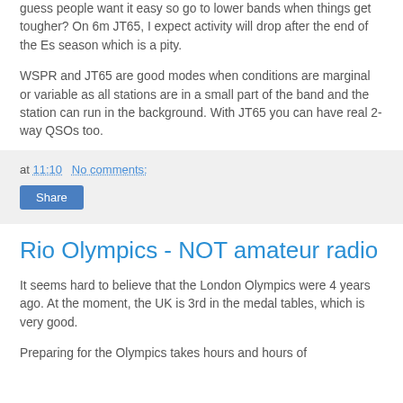guess people want it easy so go to lower bands when things get tougher? On 6m JT65, I expect activity will drop after the end of the Es season which is a pity.
WSPR and JT65 are good modes when conditions are marginal or variable as all stations are in a small part of the band and the station can run in the background. With JT65 you can have real 2-way QSOs too.
at 11:10   No comments:
Share
Rio Olympics - NOT amateur radio
It seems hard to believe that the London Olympics were 4 years ago. At the moment, the UK is 3rd in the medal tables, which is very good.
Preparing for the Olympics takes hours and hours of